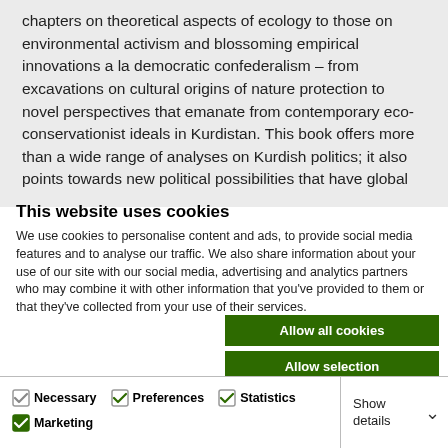chapters on theoretical aspects of ecology to those on environmental activism and blossoming empirical innovations a la democratic confederalism – from excavations on cultural origins of nature protection to novel perspectives that emanate from contemporary eco-conservationist ideals in Kurdistan. This book offers more than a wide range of analyses on Kurdish politics; it also points towards new political possibilities that have global
This website uses cookies
We use cookies to personalise content and ads, to provide social media features and to analyse our traffic. We also share information about your use of our site with our social media, advertising and analytics partners who may combine it with other information that you've provided to them or that they've collected from your use of their services.
Allow all cookies
Allow selection
Use necessary cookies only
Necessary  Preferences  Statistics  Marketing  Show details